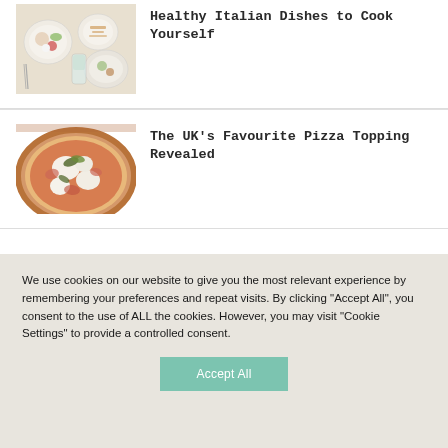[Figure (photo): Overhead view of Italian food dishes on a table including plates with various foods]
Healthy Italian Dishes to Cook Yourself
[Figure (photo): A pizza topped with mozzarella, tomatoes, prosciutto, and fresh green leaves]
The UK's Favourite Pizza Topping Revealed
We use cookies on our website to give you the most relevant experience by remembering your preferences and repeat visits. By clicking "Accept All", you consent to the use of ALL the cookies. However, you may visit "Cookie Settings" to provide a controlled consent.